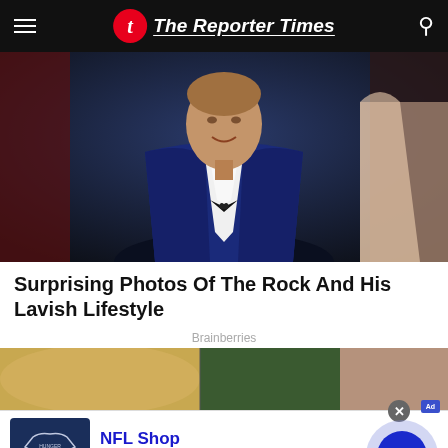The Reporter Times
[Figure (photo): Man in blue velvet tuxedo jacket with black bow tie at a red carpet event, smiling at camera. Other people visible in background.]
Surprising Photos Of The Rock And His Lavish Lifestyle
Brainberries
[Figure (photo): Partial view of people at an event, showing blonde hair and colorful clothing.]
[Figure (screenshot): NFL Shop advertisement. Product image of Dallas Cowboys jersey. Text: NFL Shop. Free shipping on orders over $25. www.nflshop.com. Arrow button for navigation.]